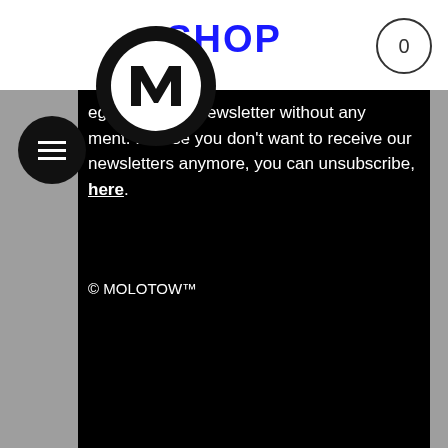SHOP
[Figure (logo): Molotow logo — black circle with white inner circle containing black M letter]
[Figure (other): Hamburger menu icon — three white horizontal lines in a black circle]
egister for our newsletter without any ment. In case you don't want to receive our newsletters anymore, you can unsubscribe, here.
© MOLOTOW™